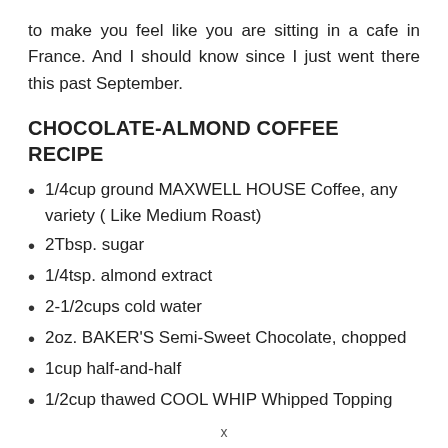to make you feel like you are sitting in a cafe in France. And I should know since I just went there this past September.
CHOCOLATE-ALMOND COFFEE RECIPE
1/4cup ground MAXWELL HOUSE Coffee, any variety ( Like Medium Roast)
2Tbsp. sugar
1/4tsp. almond extract
2-1/2cups cold water
2oz. BAKER'S Semi-Sweet Chocolate, chopped
1cup half-and-half
1/2cup thawed COOL WHIP Whipped Topping
x